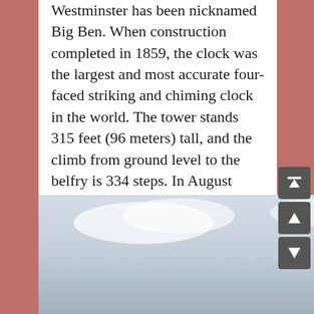Westminster has been nicknamed Big Ben. When construction completed in 1859, the clock was the largest and most accurate four-faced striking and chiming clock in the world. The tower stands 315 feet (96 meters) tall, and the climb from ground level to the belfry is 334 steps. In August 2017, a four-year schedule of renovation work began on the tower. With a few exceptions, such as New Year's Eve and Remembrance Sunday, the bells are to be silent until the work is completed in the 2020s.
[Figure (photo): A photo of the top spire of Big Ben (Elizabeth Tower) against a cloudy sky]